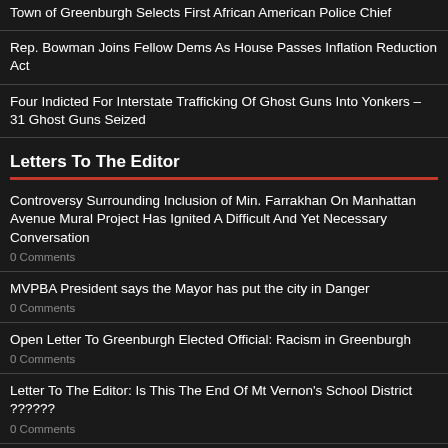Town of Greenburgh Selects First African American Police Chief
Rep. Bowman Joins Fellow Dems As House Passes Inflation Reduction Act
Four Indicted For Interstate Trafficking Of Ghost Guns Into Yonkers – 31 Ghost Guns Seized
Letters To The Editor
Controversy Surrounding Inclusion of Min. Farrakhan On Manhattan Avenue Mural Project Has Ignited A Difficult And Yet Necessary Conversation
0 Comments
MVPBA President says the Mayor has put the city in Danger
0 Comments
Open Letter To Greenburgh Elected Official: Racism in Greenburgh
0 Comments
Letter To The Editor: Is This The End Of Mt Vernon's School District ??????
0 Comments